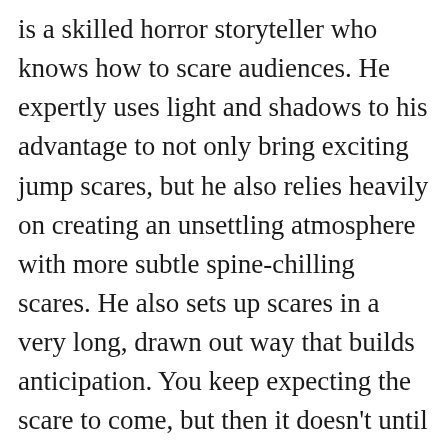is a skilled horror storyteller who knows how to scare audiences. He expertly uses light and shadows to his advantage to not only bring exciting jump scares, but he also relies heavily on creating an unsettling atmosphere with more subtle spine-chilling scares. He also sets up scares in a very long, drawn out way that builds anticipation. You keep expecting the scare to come, but then it doesn't until you are caught off guard again. Sandberg has already improved his skills since Lights Out, his first feature film, so I look forward to seeing more of his work in the future.